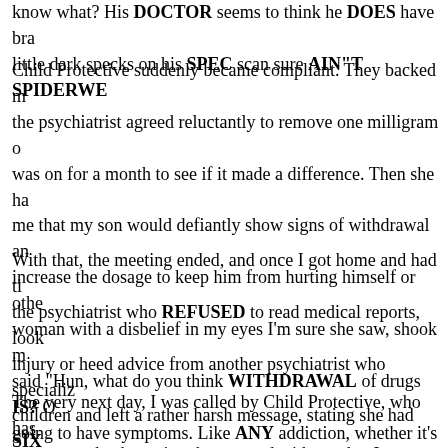know what? His DOCTOR seems to think he DOES have brain damage and those little dark specks on his SPEC scan sure AIN"T SPIDERWEB...
Child Protective suddenly became compliant. They backed m... the psychiatrist agreed reluctantly to remove one milligram o... was on for a month to see if it made a difference. Then she ha... me that my son would defiantly show signs of withdrawal an... increase the dosage to keep him from hurting himself or othe... woman with a disbelief in my eyes I'm sure she saw, shook m... said "Hun, what do you think WITHDRAWAL of drugs IS? O... going to have symptoms. Like ANY addiction, whether it's al... drugs. How ridiculous can you be?????"
With that, the meeting ended, and once I got home and had ti... the psychiatrist who REFUSED to read medical reports, look... injury or heed advice from another psychiatrist who specializ... children and left a rather harsh message, stating she had SIX ... son from the Risperdal or I was coming in full barrel with a la... malpractice suit.
The very next day, I was called by Child Protective, who has... me my son back, stating they agreed with me that I was righ...